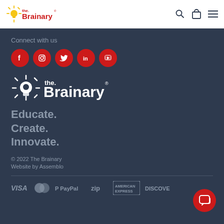the Brainary [logo with search, bag, menu icons]
Connect with us
[Figure (logo): Social media icons: Facebook, Instagram, Twitter, LinkedIn, YouTube — all red circles with white icons]
[Figure (logo): The Brainary logo in white on dark background — lightbulb icon with 'the Brainary' text]
Educate.
Create.
Innovate.
© 2022 The Brainary
Website by Assemblo
[Figure (logo): Payment method logos: VISA, Mastercard, PayPal, Zip, American Express, Discover]